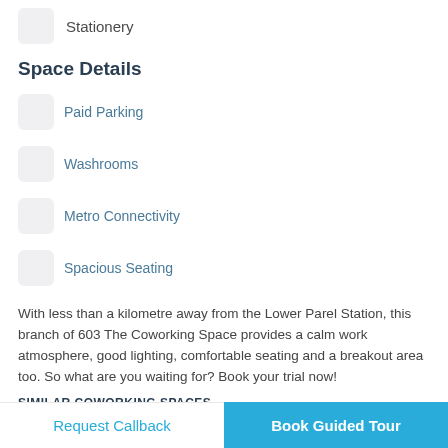Stationery
Space Details
Paid Parking
Washrooms
Metro Connectivity
Spacious Seating
With less than a kilometre away from the Lower Parel Station, this branch of 603 The Coworking Space provides a calm work atmosphere, good lighting, comfortable seating and a breakout area too. So what are you waiting for? Book your trial now!
SIMILAR COWORKING SPACES
Spaces Nearby   Spaces in Mumbai
Request Callback
Book Guided Tour